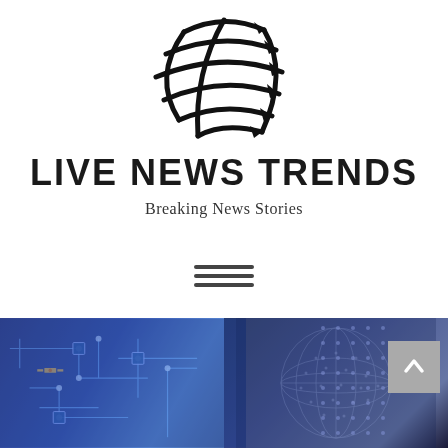[Figure (logo): Globe-like logo made of horizontal arrow-tipped swoosh lines, black and white, representing Live News Trends]
LIVE NEWS TRENDS
Breaking News Stories
[Figure (infographic): Hamburger menu icon with three horizontal lines]
[Figure (photo): Technology background image showing circuit board elements on the left and a wireframe globe/sphere on the right, in blue and purple tones, with a scroll-to-top arrow button in grey on the bottom right]